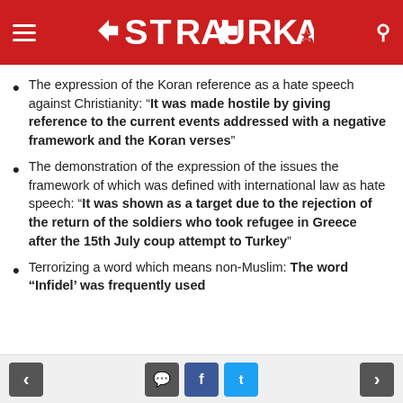STRATORKA
The expression of the Koran reference as a hate speech against Christianity: “It was made hostile by giving reference to the current events addressed with a negative framework and the Koran verses”
The demonstration of the expression of the issues the framework of which was defined with international law as hate speech: “It was shown as a target due to the rejection of the return of the soldiers who took refugee in Greece after the 15th July coup attempt to Turkey”
Terrorizing a word which means non-Muslim: The word “Infidel’ was frequently used